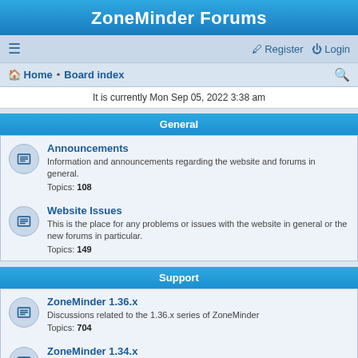ZoneMinder Forums
Register | Login | Home | Board index
It is currently Mon Sep 05, 2022 3:38 am
General
Announcements
Information and announcements regarding the website and forums in general.
Topics: 108
Website Issues
This is the place for any problems or issues with the website in general or the new forums in particular.
Topics: 149
Support
ZoneMinder 1.36.x
Discussions related to the 1.36.x series of ZoneMinder
Topics: 704
ZoneMinder 1.34.x
Forum for questions and support relating to the 1.34.x releases only.
Topics: 1051
Mobile Apps and Event Server
Discussions related to...